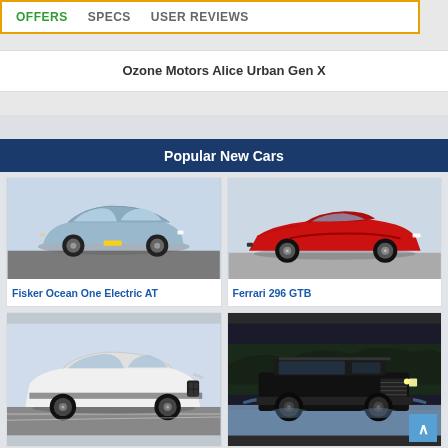OFFERS  SPECS  USER REVIEWS
Ozone Motors Alice Urban Gen X
Popular New Cars
[Figure (photo): Fisker Ocean One Electric AT - silver/blue electric SUV on tarmac]
Fisker Ocean One Electric AT
[Figure (photo): Ferrari 296 GTB - red sports car on track]
Ferrari 296 GTB
[Figure (photo): White large BMW SUV (X7) on road]
[Figure (photo): Black off-road SUV in snowy/dark environment]